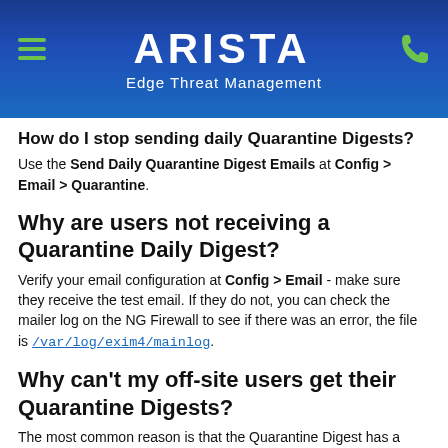ARISTA Edge Threat Management
How do I stop sending daily Quarantine Digests?
Use the Send Daily Quarantine Digest Emails at Config > Email > Quarantine.
Why are users not receiving a Quarantine Daily Digest?
Verify your email configuration at Config > Email - make sure they receive the test email. If they do not, you can check the mailer log on the NG Firewall to see if there was an error, the file is /var/log/exim4/mainlog.
Why can't my off-site users get their Quarantine Digests?
The most common reason is that the Quarantine Digest has a URL with a private IP while they need a URL with a public IP. You'll need to verify a few settings:
1. Under Config > Administration, make sure that Enable Outside Access is checked.